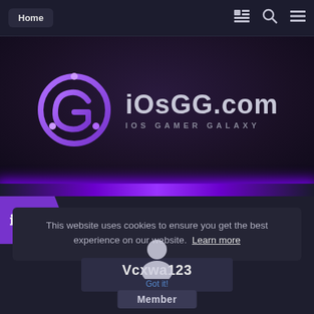Home
[Figure (logo): iOsGG.com iOS Gamer Galaxy logo with purple circular G icon and text]
This website uses cookies to ensure you get the best experience on our website. Learn more
Vcxwa123
Got it!
Member